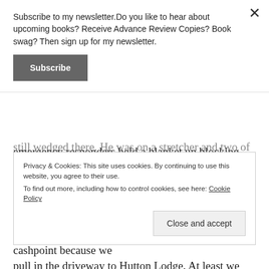Subscribe to my newsletter.Do you like to hear about upcoming books? Receive Advance Review Copies? Book swag? Then sign up for my newsletter.
Subscribe
still wedged there. He was on a stretcher and two of the emergency responders held a blanket up blocking the view of the passersby. I figured he was dead and if not then, very soon.
Onto the M6 we went stopping at the Gretna Gateway Outlet Village – not to shop but to find a cashpoint because we
Privacy & Cookies: This site uses cookies. By continuing to use this website, you agree to their use.
To find out more, including how to control cookies, see here: Cookie Policy
Close and accept
pull in the driveway to Hutton Lodge. At least we know where